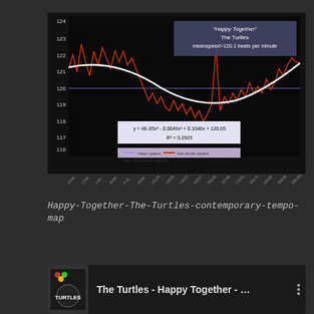[Figure (continuous-plot): Tempo map chart for 'Happy Together' by The Turtles. Dark background with red jagged line showing live studio speed fluctuating around 119-124 BPM, white polynomial trend curve, and horizontal blue mean speed line. Title annotation: 'Happy Together' The Turtles meanspeed=120.1 beats per minute. Equation: y = 4E-05x³ - 0.0049x² + 0.1046x + 120.65, R² = 0.2925. Legend shows: mean speed, live studio speed, Poly. (live studio speed).]
Happy-Together-The-Turtles-contemporary-tempo-map
[Figure (screenshot): YouTube video thumbnail showing The Turtles - Happy Together - ... with channel icon (The Turtles logo) on dark background and three-dot menu icon.]